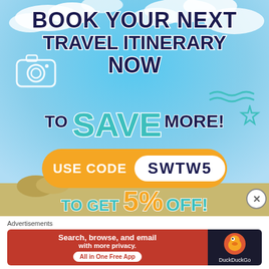[Figure (infographic): Travel advertisement banner with sky background. Text: 'BOOK YOUR NEXT TRAVEL ITINERARY NOW TO SAVE MORE!' with promo code SWTW5 for 5% off. Features camera icon, wave and star decorations. Yellow pill-shaped USE CODE SWTW5 button.]
Advertisements
[Figure (infographic): DuckDuckGo advertisement banner: 'Search, browse, and email with more privacy. All in One Free App' on red background with DuckDuckGo logo on dark background.]